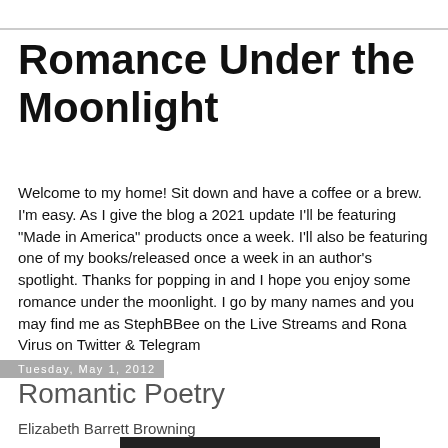Romance Under the Moonlight
Welcome to my home! Sit down and have a coffee or a brew. I'm easy. As I give the blog a 2021 update I'll be featuring "Made in America" products once a week. I'll also be featuring one of my books/released once a week in an author's spotlight. Thanks for popping in and I hope you enjoy some romance under the moonlight. I go by many names and you may find me as StephBBee on the Live Streams and Rona Virus on Twitter & Telegram
Tuesday, May 1, 2012
Romantic Poetry
Elizabeth Barrett Browning
[Figure (photo): Dark/black image at bottom of page]